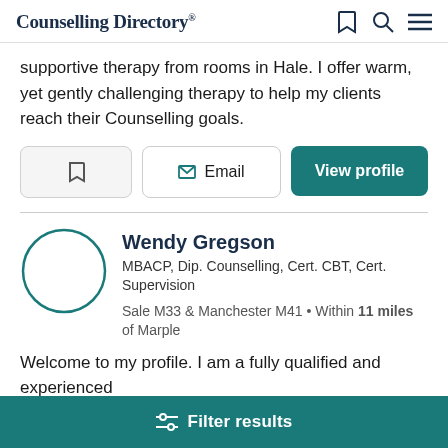Counselling Directory
supportive therapy from rooms in Hale. I offer warm, yet gently challenging therapy to help my clients reach their Counselling goals.
Bookmark | Email | View profile
Wendy Gregson
MBACP, Dip. Counselling, Cert. CBT, Cert. Supervision
Sale M33 & Manchester M41 • Within 11 miles of Marple
Welcome to my profile. I am a fully qualified and experienced
Filter results